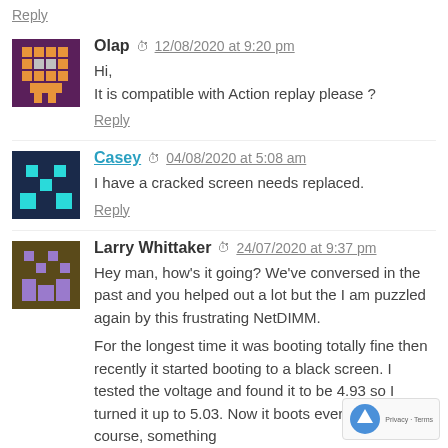Reply
Olap  12/08/2020 at 9:20 pm
Hi,
It is compatible with Action replay please ?
Reply
Casey  04/08/2020 at 5:08 am
I have a cracked screen needs replaced.
Reply
Larry Whittaker  24/07/2020 at 9:37 pm
Hey man, how's it going? We've conversed in the past and you helped out a lot but the I am puzzled again by this frustrating NetDIMM.

For the longest time it was booting totally fine then recently it started booting to a black screen. I tested the voltage and found it to be 4.93 so I turned it up to 5.03. Now it boots every time but, of course, something